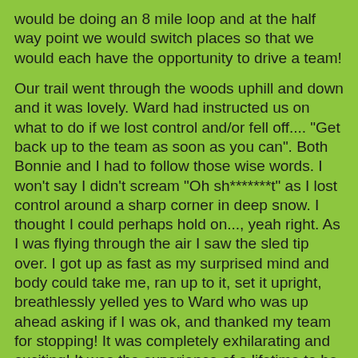would be doing an 8 mile loop and at the half way point we would switch places so that we would each have the opportunity to drive a team!
Our trail went through the woods uphill and down and it was lovely. Ward had instructed us on what to do if we lost control and/or fell off.... "Get back up to the team as soon as you can". Both Bonnie and I had to follow those wise words. I won't say I didn't scream "Oh sh*******t" as I lost control around a sharp corner in deep snow. I thought I could perhaps hold on..., yeah right. As I was flying through the air I saw the sled tip over. I got up as fast as my surprised mind and body could take me, ran up to it, set it upright, breathlessly yelled yes to Ward who was up ahead asking if I was ok, and thanked my team for stopping! It was completely exhilarating and exciting!  It was the experience of a lifetime to be sure.
Afterwards as we climbed into her Suburban in disbelief with giant smiles on our faces, I said, "This was not on my Bucket list but now I am going to put it on there and check it off because this was a bucket list experience that I didn't even